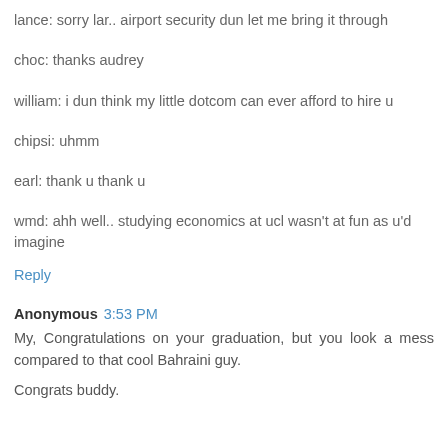lance: sorry lar.. airport security dun let me bring it through
choc: thanks audrey
william: i dun think my little dotcom can ever afford to hire u
chipsi: uhmm
earl: thank u thank u
wmd: ahh well.. studying economics at ucl wasn't at fun as u'd imagine
Reply
Anonymous 3:53 PM
My, Congratulations on your graduation, but you look a mess compared to that cool Bahraini guy.
Congrats buddy.